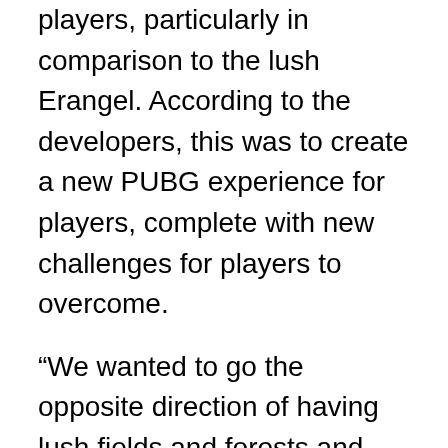players, particularly in comparison to the lush Erangel. According to the developers, this was to create a new PUBG experience for players, complete with new challenges for players to overcome.
“We wanted to go the opposite direction of having lush fields and forests and arrived at the harsh and unforgiving desert of what we can now reveal is Miramar,” the development team wrote in a post on the Steam forums. “The unique terrain and dense urban areas of Miramar will create a new Battle Royale experience where the old strategies may no longer work and new